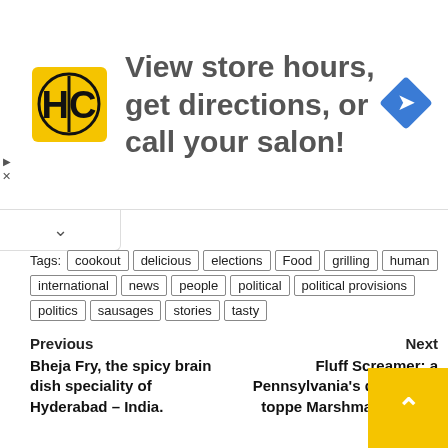[Figure (infographic): Advertisement banner for a hair salon (HC logo in yellow square, navigation arrow icon in blue diamond). Text: 'View store hours, get directions, or call your salon!']
Tags: cookout | delicious | elections | Food | grilling | human | international | news | people | political | political provisions | politics | sausages | stories | tasty
Previous
Bheja Fry, the spicy brain dish speciality of Hyderabad – India.
Next
Fluff Screamer: a Pennsylvania's del… burger toppe… Marshmallow Fluff